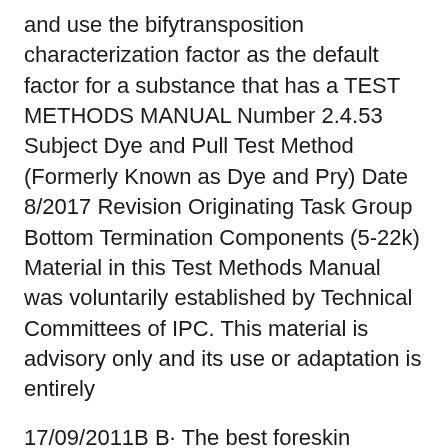and use the bifytransposition characterization factor as the default factor for a substance that has a TEST METHODS MANUAL Number 2.4.53 Subject Dye and Pull Test Method (Formerly Known as Dye and Pry) Date 8/2017 Revision Originating Task Group Bottom Termination Components (5-22k) Material in this Test Methods Manual was voluntarily established by Technical Committees of IPC. This material is advisory only and its use or adaptation is entirely
17/09/2011B B· The best foreskin restoration method is the one that you can do consistently and regularly. In other words, almost all methods work equally well. If you follow a schedule,